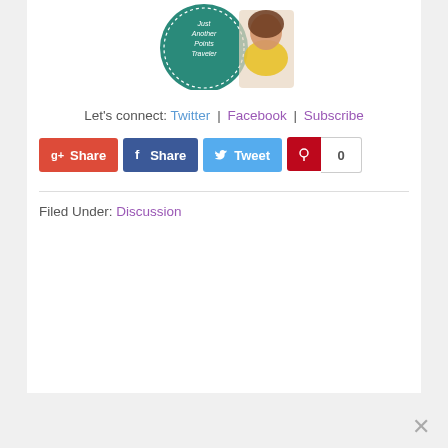[Figure (photo): Blog logo/banner image for 'Just Another Points Traveler' with a woman in a yellow top and a teal circular badge with text]
Let's connect: Twitter | Facebook | Subscribe
[Figure (infographic): Social sharing buttons: Google+ Share, Facebook Share, Twitter Tweet, Pinterest with count 0]
Filed Under: Discussion